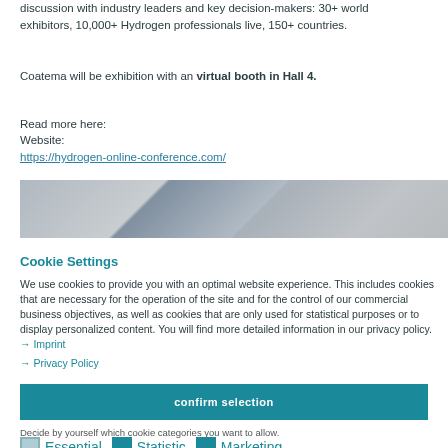discussion with industry leaders and key decision-makers: 30+ world exhibitors, 10,000+ Hydrogen professionals live, 150+ countries.
Coatema will be exhibition with an virtual booth in Hall 4.
Read more here:
Website:
https://hydrogen-online-conference.com/
[Figure (photo): Horizontal photo banner showing interior of an exhibition hall or conference venue with ceiling lights and partitions]
Cookie Settings
We use cookies to provide you with an optimal website experience. This includes cookies that are necessary for the operation of the site and for the control of our commercial business objectives, as well as cookies that are only used for statistical purposes or to display personalized content. You will find more detailed information in our privacy policy.  → Imprint
→ Privacy Policy
confirm selection
Decide by yourself which cookie categories you want to allow.
Essential
Statistic
Marketing